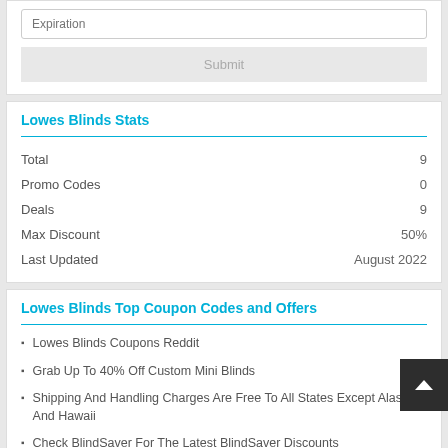Expiration
Submit
Lowes Blinds Stats
|  |  |
| --- | --- |
| Total | 9 |
| Promo Codes | 0 |
| Deals | 9 |
| Max Discount | 50% |
| Last Updated | August 2022 |
Lowes Blinds Top Coupon Codes and Offers
Lowes Blinds Coupons Reddit
Grab Up To 40% Off Custom Mini Blinds
Shipping And Handling Charges Are Free To All States Except Alaska And Hawaii
Check BlindSaver For The Latest BlindSaver Discounts